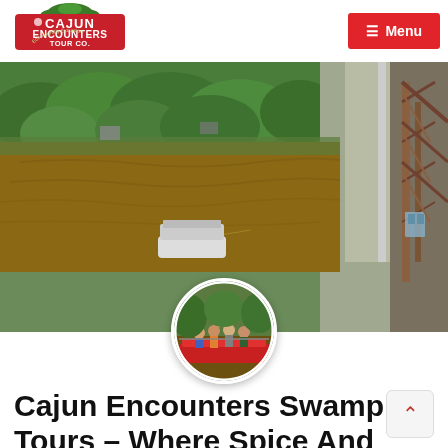Cajun Encounters Tour Co. | Menu
[Figure (photo): Aerial view of a muddy bayou river with a flat tour boat on the water, dense green trees lining the bank, and a rusty industrial structure (bridge or crane) visible on the right side of the frame.]
[Figure (photo): Circular cropped photo of a group of tourists standing on a red tour boat, smiling, in a swamp setting.]
Cajun Encounters Swamp Tours – Where Spice And